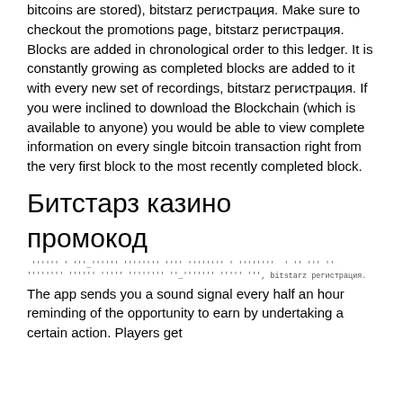bitcoins are stored), bitstarz регистрация. Make sure to checkout the promotions page, bitstarz регистрация. Blocks are added in chronological order to this ledger. It is constantly growing as completed blocks are added to it with every new set of recordings, bitstarz регистрация. If you were inclined to download the Blockchain (which is available to anyone) you would be able to view complete information on every single bitcoin transaction right from the very first block to the most recently completed block.
Битстарз казино промокод
'''''' ' '''_'''''' '''''''' '''' '''''''' ' '''''''' ' '' ''' '' '''''''' '''''' ''''' '''''''' ''_''''''' ''''' ''', bitstarz регистрация.
The app sends you a sound signal every half an hour reminding of the opportunity to earn by undertaking a certain action. Players get